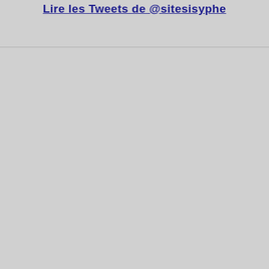Lire les Tweets de @sitesisyphe
[Figure (other): Gray empty area below a horizontal divider line, remainder of a Twitter embedded widget with no visible content loaded.]